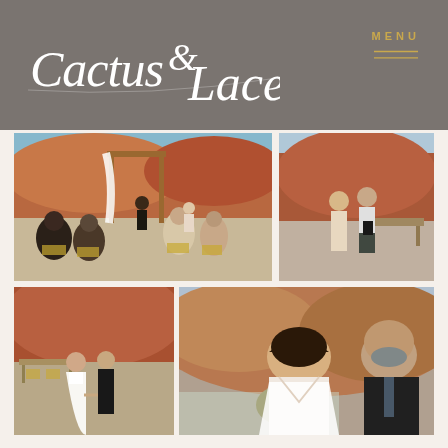Cactus & Lace
MENU
[Figure (photo): Desert wedding ceremony with guests seated in gold chairs facing a wooden arch with white draping and floral accents, red rock landscape in background]
[Figure (photo): Couple standing together in desert rocky landscape, man in white shirt and woman beside him, outdoor furniture visible in background]
[Figure (photo): Bride in white gown walking with older man in black suit down aisle in desert outdoor setting with tables and chairs]
[Figure (photo): Close-up of bride in white dress holding bouquet of flowers with greenery, older man in dark suit beside her, desert mountain landscape behind]